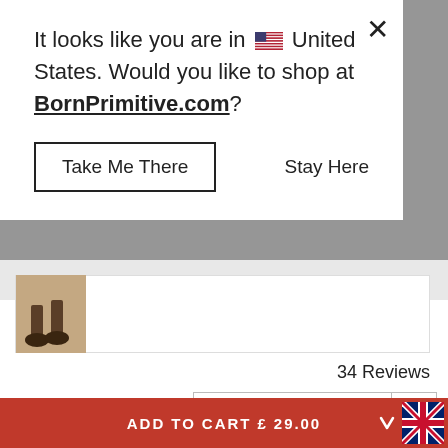It looks like you are in 🇺🇸 United States. Would you like to shop at BornPrimitive.com?
Take Me There
Stay Here
[Figure (photo): Partially visible product image thumbnail showing what appears to be gym/fitness related footwear on a sandy surface]
34 Reviews
Most Recent
[Figure (logo): Born Primitive shield/crest logo in dark outline style]
Katherine M. 🇺🇸
Verified Buyer
ADD TO CART £ 29.00
[Figure (illustration): UK flag (Union Jack) in bottom right corner with chevron/arrow icon]